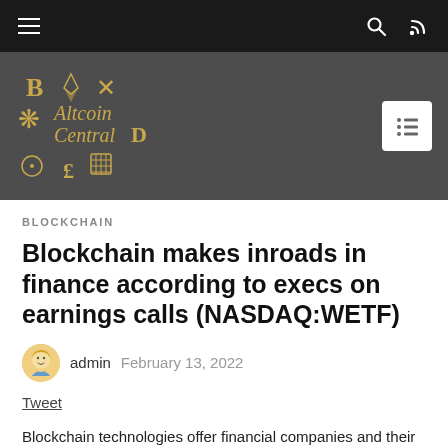Altcoin Central
BLOCKCHAIN
Blockchain makes inroads in finance according to execs on earnings calls (NASDAQ:WETF)
admin  February 13, 2022
Tweet
Blockchain technologies offer financial companies and their